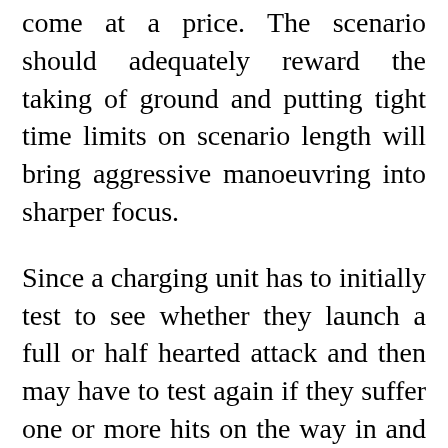come at a price. The scenario should adequately reward the taking of ground and putting tight time limits on scenario length will bring aggressive manoeuvring into sharper focus.
Since a charging unit has to initially test to see whether they launch a full or half hearted attack and then may have to test again if they suffer one or more hits on the way in and then in the execution of rolling attack dice, any result of '1' inflicts a hit on the attacker, then charging is never a certain thing and once again certainty and control is taken away from the player and that thing of push-backs, counter-attacks, breaking off attacks and repeated assaults all becomes